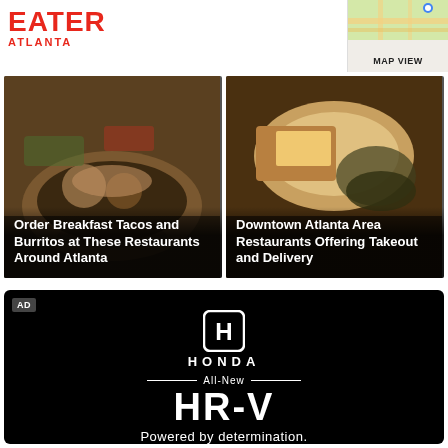EATER ATLANTA
MAP VIEW
[Figure (photo): Food photo of breakfast tacos on blue plate with overlay text: Order Breakfast Tacos and Burritos at These Restaurants Around Atlanta]
[Figure (photo): Food photo of restaurant dish with overlay text: Downtown Atlanta Area Restaurants Offering Takeout and Delivery]
[Figure (illustration): Honda advertisement on black background featuring Honda logo (H in oval ring), HONDA wordmark, All-New HR-V, Powered by determination.]